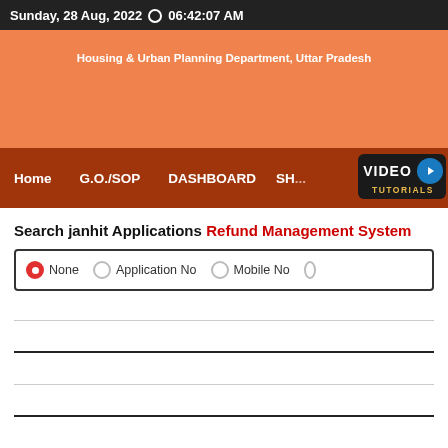Sunday, 28 Aug, 2022  06:42:07 AM
Housing & Urban Planning Department, Uttar Pradesh
Home  G.O./SOP  DASHBOARD  SH...  VIDEO TUTORIALS
Search janhit Applications
Refund Management System
None  Application No  Mobile No
| Sr.No. | Application No | Applicant Name | Applic |
| --- | --- | --- | --- |